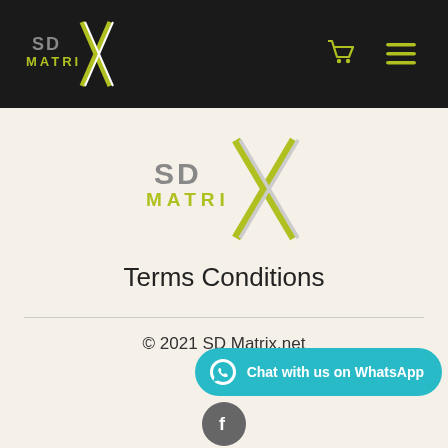SD Matrix website header with logo, cart icon, and menu icon
[Figure (logo): SD Matrix logo centered on beige background]
Terms Conditions
© 2021 SD Matrix.net
[Figure (infographic): WhatsApp chat button: Chat with us on WhatsApp]
[Figure (infographic): Facebook circle button at bottom center]